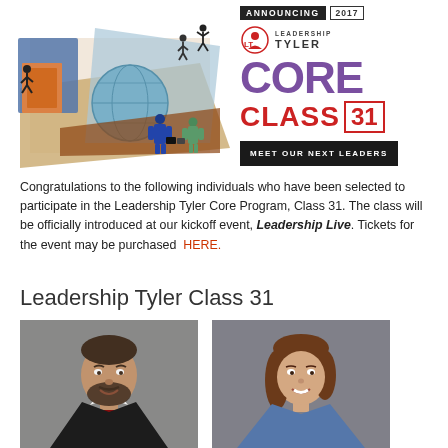[Figure (illustration): Leadership Tyler Core Class 31 banner with illustration of people figures, globe, and business imagery on the left side, and the Leadership Tyler logo, 'CORE CLASS 31' branding, and 'MEET OUR NEXT LEADERS' button on the right side.]
Congratulations to the following individuals who have been selected to participate in the Leadership Tyler Core Program, Class 31. The class will be officially introduced at our kickoff event, Leadership Live. Tickets for the event may be purchased HERE.
Leadership Tyler Class 31
[Figure (photo): Headshot of a middle-aged man with beard wearing a dark suit and red tie, against a grey background.]
[Figure (photo): Headshot of a woman with brown hair, smiling, wearing a blue top, against a grey background.]